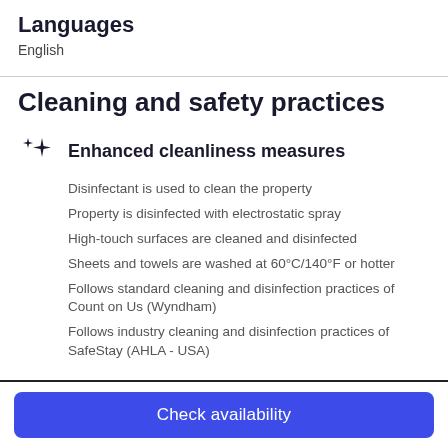Languages
English
Cleaning and safety practices
Enhanced cleanliness measures
Disinfectant is used to clean the property
Property is disinfected with electrostatic spray
High-touch surfaces are cleaned and disinfected
Sheets and towels are washed at 60°C/140°F or hotter
Follows standard cleaning and disinfection practices of Count on Us (Wyndham)
Follows industry cleaning and disinfection practices of SafeStay (AHLA - USA)
Check availability